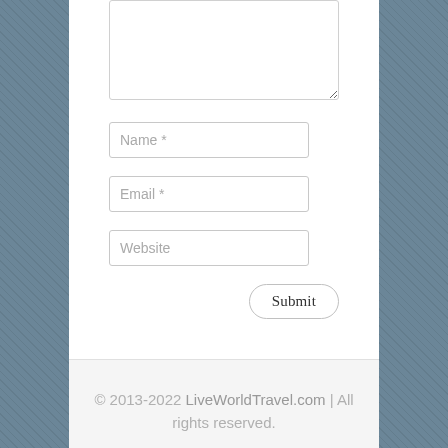[Figure (screenshot): A web form with a textarea (partially visible at top), Name, Email, and Website input fields, a Submit button, and a footer with copyright notice.]
Name *
Email *
Website
Submit
© 2013-2022 LiveWorldTravel.com | All rights reserved.